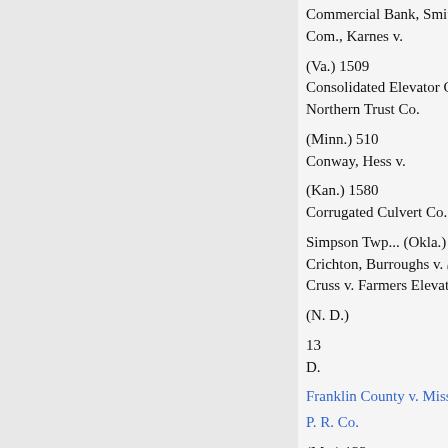Commercial Bank, Smith v. (Fla.
Com., Karnes v.
(Va.) 1509
Consolidated Elevator Co., Northern Trust Co.
(Minn.) 510
Conway, Hess v.
(Kan.) 1580
Corrugated Culvert Co.
Simpson Twp... (Okla.) 1170
Crichton, Burroughs v. (D. C.) 1
Cruss v. Farmers Elevator Co.
(N. D.)
13
D.
Franklin County v. Missouri P. R. Co.
(Mo.) 133
G.